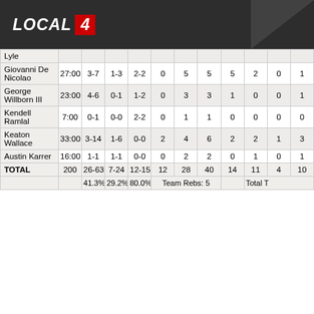[Figure (logo): LOCAL 4 TV station logo on dark background]
| Player | MIN | FG | 3PT | FT | OR | DR | REB | AST | STL | BLK | TO |
| --- | --- | --- | --- | --- | --- | --- | --- | --- | --- | --- | --- |
| Lyle |  |  |  |  |  |  |  |  |  |  |  |
| Giovanni De Nicolao | 27:00 | 3-7 | 1-3 | 2-2 | 0 | 5 | 5 | 5 | 2 | 0 | 1 |
| George Willborn III | 23:00 | 4-6 | 0-1 | 1-2 | 0 | 3 | 3 | 1 | 0 | 0 | 1 |
| Kendell Ramlal | 7:00 | 0-1 | 0-0 | 2-2 | 0 | 1 | 1 | 0 | 0 | 0 | 0 |
| Keaton Wallace | 33:00 | 3-14 | 1-6 | 0-0 | 2 | 4 | 6 | 2 | 2 | 1 | 3 |
| Austin Karrer | 16:00 | 1-1 | 1-1 | 0-0 | 0 | 2 | 2 | 0 | 1 | 0 | 1 |
| TOTAL | 200 | 26-63 | 7-24 | 12-15 | 12 | 28 | 40 | 14 | 11 | 4 | 10 |